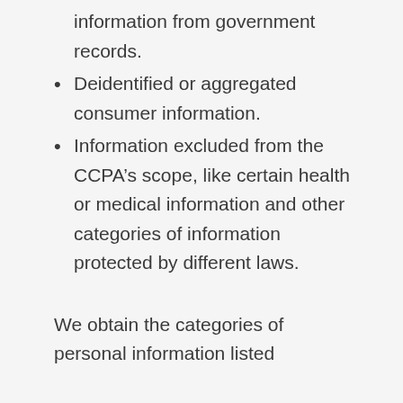information from government records.
Deidentified or aggregated consumer information.
Information excluded from the CCPA’s scope, like certain health or medical information and other categories of information protected by different laws.
We obtain the categories of personal information listed